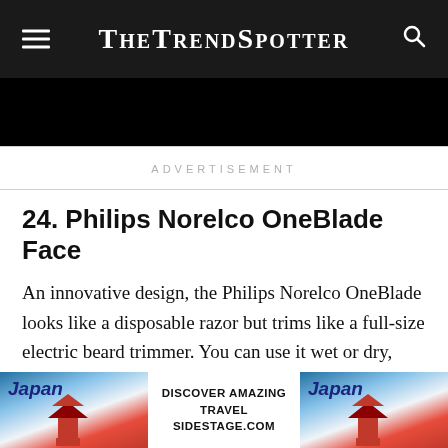TheTrendSpotter
[Figure (other): Black banner/image area below the site header]
ADVERTISEMENT
24. Philips Norelco OneBlade Face
An innovative design, the Philips Norelco OneBlade looks like a disposable razor but trims like a full-size electric beard trimmer. You can use it wet or dry, with
[Figure (photo): Japan travel advertisement banner with pagoda imagery and text: DISCOVER AMAZING TRAVEL SIDESTAGE.COM]